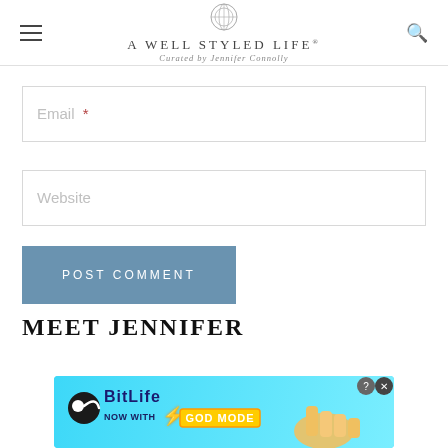A WELL STYLED LIFE — Curated by Jennifer Connolly
Email *
Website
POST COMMENT
MEET JENNIFER
[Figure (screenshot): BitLife advertisement banner: 'NOW WITH GOD MODE']